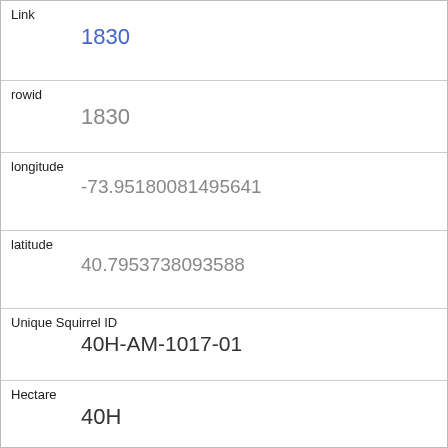| Field | Value |
| --- | --- |
| Link | 1830 |
| rowid | 1830 |
| longitude | -73.95180081495641 |
| latitude | 40.7953738093588 |
| Unique Squirrel ID | 40H-AM-1017-01 |
| Hectare | 40H |
| Shift | AM |
| Date | 10172018 |
| Hectare Squirrel Number | 1 |
| Age | Adult |